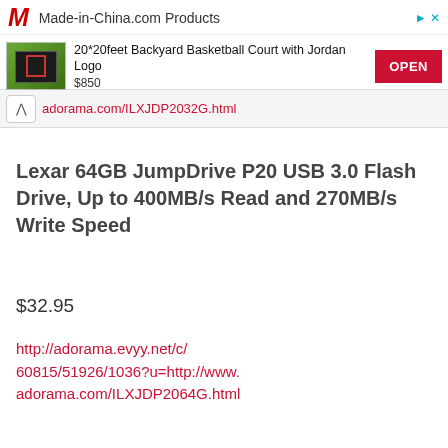[Figure (screenshot): Advertisement banner for Made-in-China.com showing a backyard basketball court product priced at $850 with an OPEN button]
adorama.com/ILXJDP2032G.html
Lexar 64GB JumpDrive P20 USB 3.0 Flash Drive, Up to 400MB/s Read and 270MB/s Write Speed
$32.95
http://adorama.evyy.net/c/60815/51926/1036?u=http://www.adorama.com/ILXJDP2064G.html